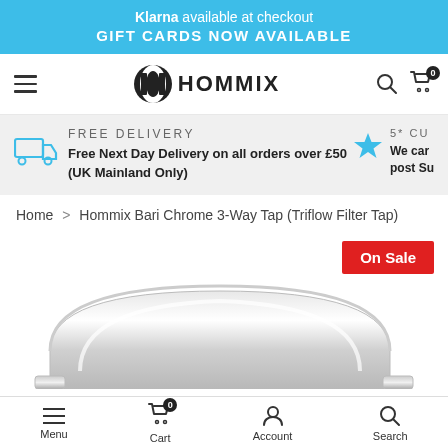Klarna available at checkout
GIFT CARDS NOW AVAILABLE
[Figure (screenshot): Hommix logo with black and white circular H icon and HOMMIX text, navigation bar with hamburger menu, search icon, and cart icon with badge 0]
FREE DELIVERY
Free Next Day Delivery on all orders over £50 (UK Mainland Only)
5* CU
We car... post Su...
Home > Hommix Bari Chrome 3-Way Tap (Triflow Filter Tap)
[Figure (photo): On Sale badge (red rectangle) and partial view of Hommix Bari Chrome 3-Way Tap in silver/chrome finish]
Menu  Cart  Account  Search